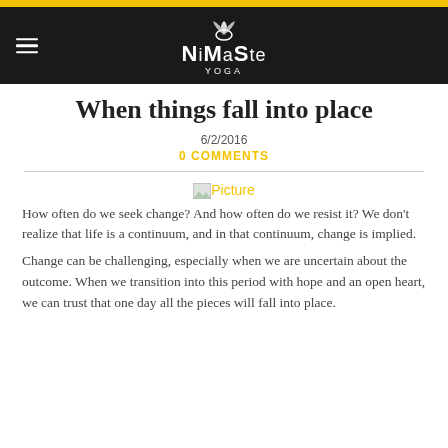NiMaSte YOGA
When things fall into place
6/2/2016
0 COMMENTS
[Figure (photo): Broken image placeholder labeled 'Picture']
How often do we seek change? And how often do we resist it? We don't realize that life is a continuum, and in that continuum, change is implied.
Change can be challenging, especially when we are uncertain about the outcome. When we transition into this period with hope and an open heart, we can trust that one day all the pieces will fall into place.